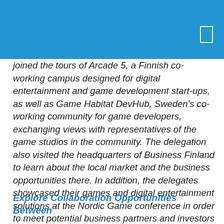joined the tours of Arcade 5, a Finnish co-working campus designed for digital entertainment and game development start-ups, as well as Game Habitat DevHub, Sweden's co-working community for game developers, exchanging views with representatives of the game studios in the community. The delegation also visited the headquarters of Business Finland to learn about the local market and the business opportunities there. In addition, the delegates showcased their games and digital entertainment solutions at the Nordic Game conference in order to meet potential business partners and investors in the region.
Explore Collaboration Opportunities Between